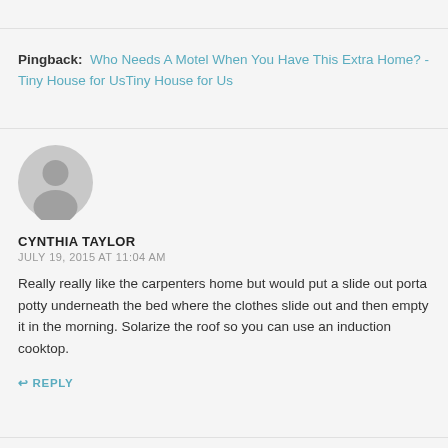Pingback: Who Needs A Motel When You Have This Extra Home? - Tiny House for UsTiny House for Us
[Figure (illustration): Default user avatar — grey circle with silhouette of a person]
CYNTHIA TAYLOR
JULY 19, 2015 AT 11:04 AM
Really really like the carpenters home but would put a slide out porta potty underneath the bed where the clothes slide out and then empty it in the morning. Solarize the roof so you can use an induction cooktop.
↩ REPLY